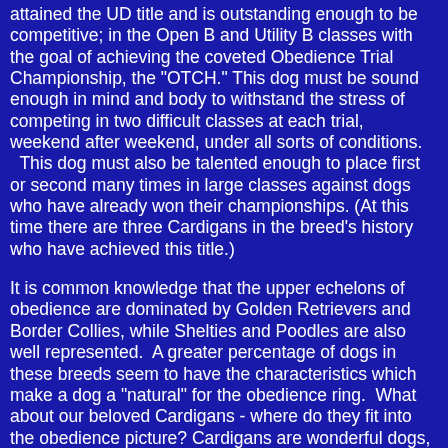attained the UD title and is outstanding enough to be competitive; in the Open B and Utility B classes with the goal of achieving the coveted Obedience Trial Championship, the "OTCH." This dog must be sound enough in mind and body to withstand the stress of competing in two difficult classes at each trial, weekend after weekend, under all sorts of conditions. This dog must also be talented enough to place first or second many times in large classes against dogs who have already won their championships. (At this time there are three Cardigans in the breed's history who have achieved this title.)
It is common knowledge that the upper echelons of obedience are dominated by Golden Retrievers and Border Collies, while Shelties and Poodles are also well represented.  A greater percentage of dogs in these breeds seem to have the characteristics which make a dog a "natural" for the obedience ring.  What about our beloved Cardigans - where do they fit into the obedience picture? Cardigans are wonderful dogs, well above average in the ease with which they can earn obedience titles.  The average Cardigan is extremely intelligent and quick to catch on to the advanced exercises.  Even more important, most of